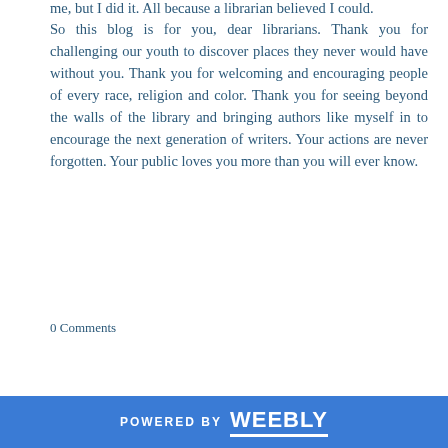me, but I did it. All because a librarian believed I could.
So this blog is for you, dear librarians. Thank you for challenging our youth to discover places they never would have without you. Thank you for welcoming and encouraging people of every race, religion and color. Thank you for seeing beyond the walls of the library and bringing authors like myself in to encourage the next generation of writers. Your actions are never forgotten. Your public loves you more than you will ever know.
0 Comments
POWERED BY weebly